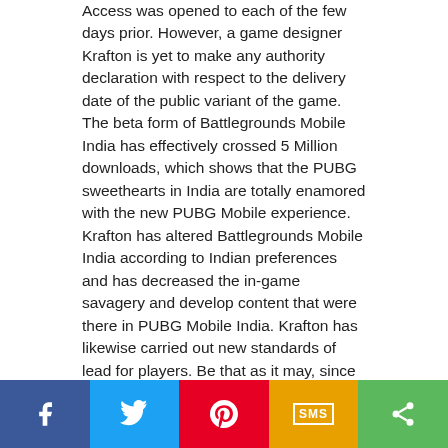Access was opened to each of the few days prior. However, game designer Krafton is yet to make any authority declaration with respect to the delivery date of the public variant of the game. The beta form of Battlegrounds Mobile India has effectively crossed 5 Million downloads, which shows that the PUBG sweethearts in India are totally enamored with the new PUBG Mobile experience. Krafton has altered Battlegrounds Mobile India according to Indian preferences and has decreased the in-game savagery and develop content that were there in PUBG Mobile India. Krafton has likewise carried out new standards of lead for players. Be that as it may, since the public adaptation of the game is as yet inaccessible, a few players including iOS clients are yet to encounter the desi form of PUBG Mobile India.
Also Read: Krafton Puts Resources Into Indian Computer Game Streaming Startup Loco
Prior, it was guaranteed by a few gamers that the public
[Figure (infographic): Social share bar with Facebook (blue), Twitter (light blue), Pinterest (red), SMS (yellow/orange), and Share (green) buttons]